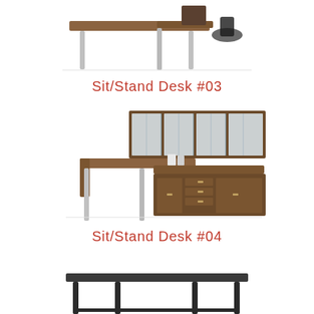[Figure (photo): Sit/Stand Desk #03 product photo showing an L-shaped height-adjustable desk with silver legs and walnut top, partial view at top of page]
Sit/Stand Desk #03
[Figure (photo): Sit/Stand Desk #04 product photo showing an L-shaped height-adjustable desk with silver legs, walnut finish, and an overhead hutch with frosted glass doors]
Sit/Stand Desk #04
[Figure (photo): Partial view of another sit/stand desk at the bottom of the page, showing dark frame and surface]